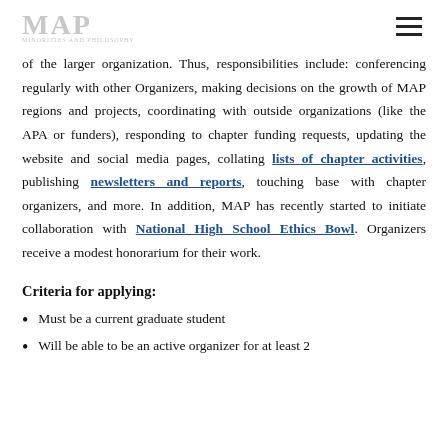MAP
of the larger organization. Thus, responsibilities include: conferencing regularly with other Organizers, making decisions on the growth of MAP regions and projects, coordinating with outside organizations (like the APA or funders), responding to chapter funding requests, updating the website and social media pages, collating lists of chapter activities, publishing newsletters and reports, touching base with chapter organizers, and more. In addition, MAP has recently started to initiate collaboration with National High School Ethics Bowl. Organizers receive a modest honorarium for their work.
Criteria for applying:
Must be a current graduate student
Will be able to be an active organizer for at least 2